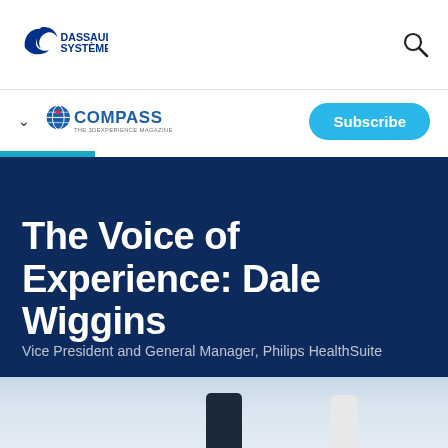Dassault Systemes
[Figure (logo): Dassault Systèmes logo with stylized '3DS' and company name]
[Figure (logo): COMPASS - The 3DExperience Magazine logo]
Subscribe
The Voice of Experience: Dale Wiggins
Vice President and General Manager, Philips HealthSuite
[Figure (photo): Bottom partial photo showing a smartphone and bottle on a light surface]